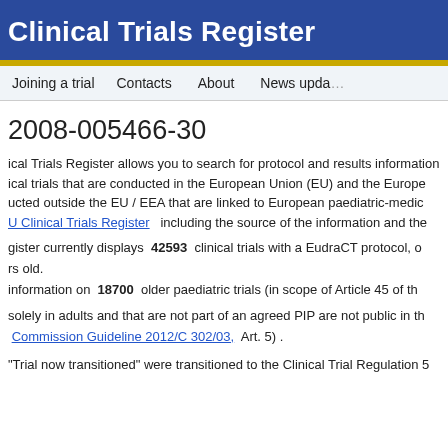Clinical Trials Register
Joining a trial   Contacts   About   News updates
2008-005466-30
The EU Clinical Trials Register allows you to search for protocol and results information on clinical trials that are conducted in the European Union (EU) and the European Economic Area (EEA), and clinical trials conducted outside the EU / EEA that are linked to European paediatric-medicine development plans (PIPs). For more information about the EU Clinical Trials Register including the source of the information and the legal basis for the register,
The register currently displays 42593 clinical trials with a EudraCT protocol, of which 7,269 are clinical trials conducted with subjects less than 18 years old.
The register also provides information on 18700 older paediatric trials (in scope of Article 45 of the Paediatric Regulation (EC) No 1901/2006).
Trials conducted solely in adults and that are not part of an agreed PIP are not public in the EU CTR. (see European Commission Guideline 2012/C 302/03, Art. 5) .
Trials with the status "Trial now transitioned" were transitioned to the Clinical Trial Regulation 536/2014.